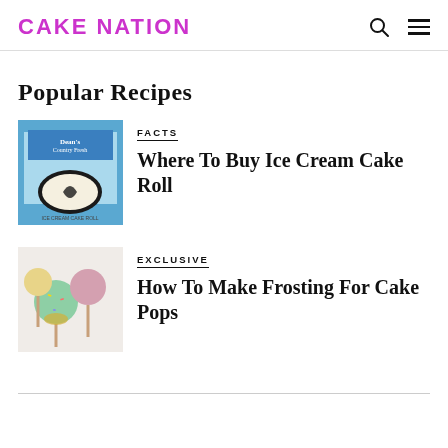CAKE NATION
Popular Recipes
[Figure (photo): Box of Dean's Country Fresh Ice Cream Cake Roll product]
FACTS
Where To Buy Ice Cream Cake Roll
[Figure (photo): Colorful cake pops with sprinkles and decorations]
EXCLUSIVE
How To Make Frosting For Cake Pops